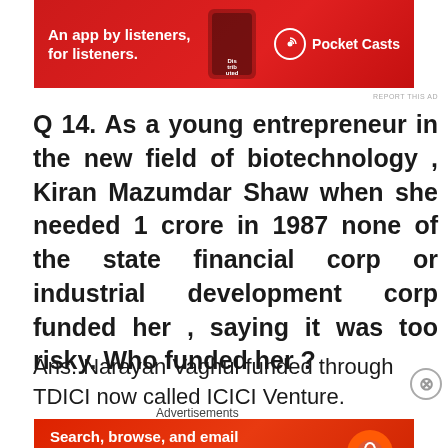[Figure (other): Pocket Casts advertisement banner: red background, text 'An app by listeners, for listeners.' with phone graphic and Pocket Casts logo]
REPORT THIS AD
Q 14. As a young entrepreneur in the new field of biotechnology , Kiran Mazumdar Shaw when she needed 1 crore in 1987 none of the state financial corp or industrial development corp funded her , saying it was too risky. Who funded her ?
Ans. Narayan Vaghul funded through TDICI now called ICICI Venture.
Advertisements
[Figure (other): DuckDuckGo advertisement banner: 'Search, browse, and email with more privacy. All in One Free App' with DuckDuckGo logo]